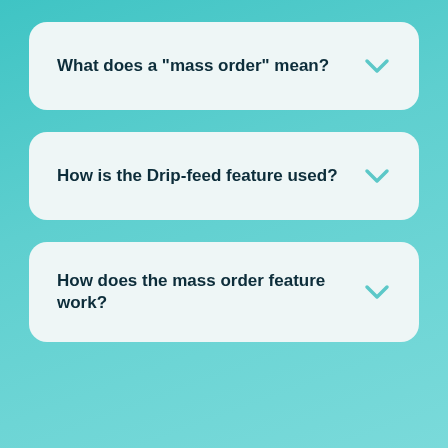What does a "mass order" mean?
How is the Drip-feed feature used?
How does the mass order feature work?